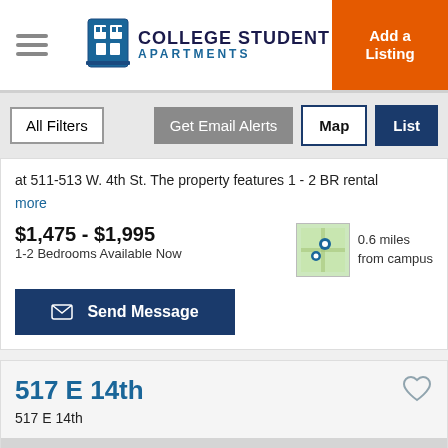COLLEGE STUDENT APARTMENTS | Add a Listing
at 511-513 W. 4th St. The property features 1 - 2 BR rental more
$1,475 - $1,995
1-2 Bedrooms Available Now
0.6 miles from campus
Send Message
517 E 14th
517 E 14th
1/3